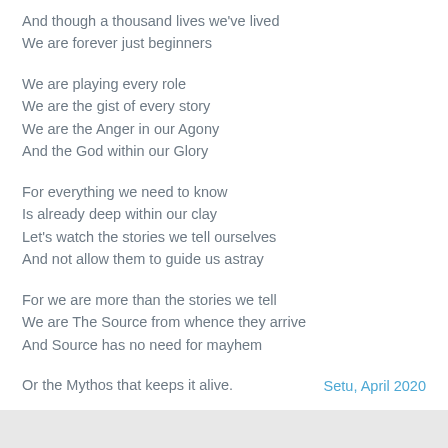And though a thousand lives we've lived
We are forever just beginners
We are playing every role
We are the gist of every story
We are the Anger in our Agony
And the God within our Glory
For everything we need to know
Is already deep within our clay
Let's watch the stories we tell ourselves
And not allow them to guide us astray
For we are more than the stories we tell
We are The Source from whence they arrive
And Source has no need for mayhem
Or the Mythos that keeps it alive.
Setu, April 2020